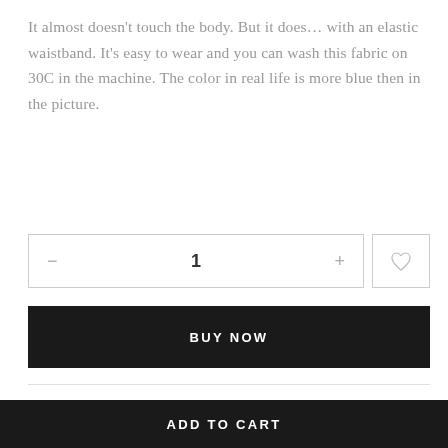It almost doesn't touch the body. But it does… with an elastic waistband. It's easy to wear and you can wash this fabric on 30C in the machine. The color in real life is more blue then in the picture.
1 (quantity selector with minus and plus buttons, and a wishlist heart icon)
BUY NOW
CATEGORIES: Bottoms, Pants, Show Pieces
TAGS: one of a kind, sale, showpieces
ADD TO CART